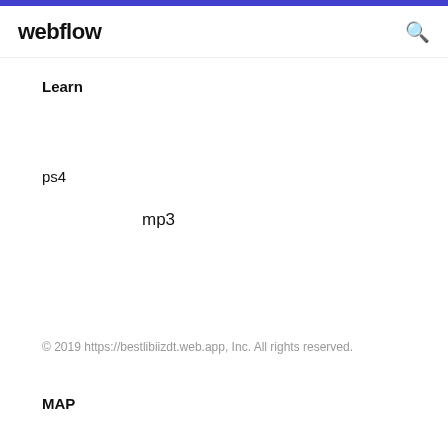webflow
Learn
ps4
mp3
© 2019 https://bestlibiizdt.web.app, Inc. All rights reserved.
MAP